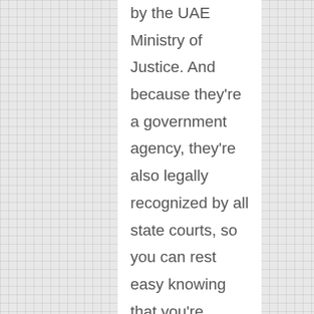by the UAE Ministry of Justice. And because they're a government agency, they're also legally recognized by all state courts, so you can rest easy knowing that you're getting an official document from a reputable company.
If you're looking for a legal translation company in Dubai, be sure to check the quality of their translations. The best companies have stringent security standards and pre-vetted linguists. Additionally, the best legal translation companies in Dubai have NDAs that protect your privacy. Make sure to review their privacy policies before making a decision. Just make sure to choose a company that is reputable and reliable. Your document